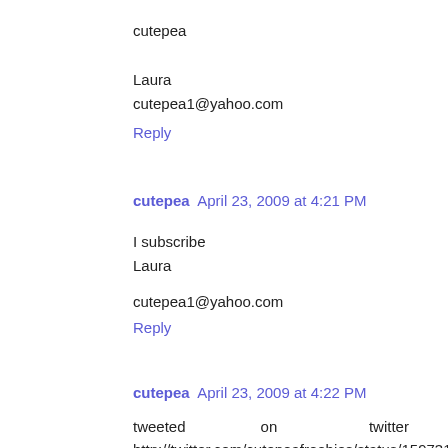cutepea
Laura
cutepea1@yahoo.com
Reply
cutepea  April 23, 2009 at 4:21 PM
I subscribe
Laura
cutepea1@yahoo.com
Reply
cutepea  April 23, 2009 at 4:22 PM
tweeted                on                      twitter
http://twitter.com/cutepeafreebies/status/1597310153
Laura